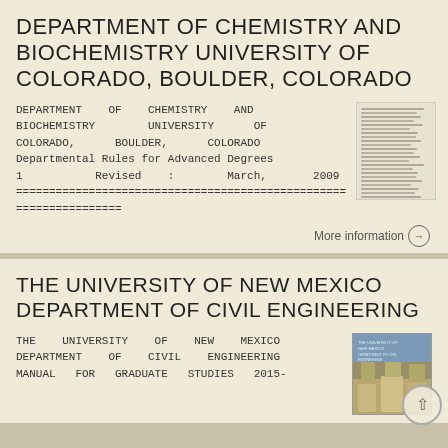DEPARTMENT OF CHEMISTRY AND BIOCHEMISTRY UNIVERSITY OF COLORADO, BOULDER, COLORADO
DEPARTMENT OF CHEMISTRY AND BIOCHEMISTRY UNIVERSITY OF COLORADO, BOULDER, COLORADO Departmental Rules for Advanced Degrees 1 Revised : March, 2009 ================================================== ================
[Figure (photo): Thumbnail image of a document page showing text lines]
More information →
THE UNIVERSITY OF NEW MEXICO DEPARTMENT OF CIVIL ENGINEERING
THE UNIVERSITY OF NEW MEXICO DEPARTMENT OF CIVIL ENGINEERING MANUAL FOR GRADUATE STUDIES 2015-
[Figure (photo): Thumbnail image showing a building photograph for the University of New Mexico Department of Civil Engineering]